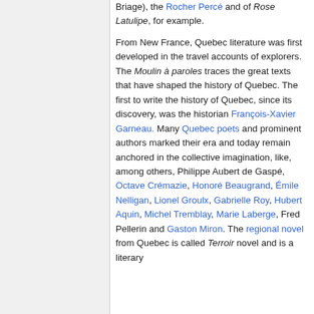Briage), the Rocher Percé and of Rose Latulipe, for example.
From New France, Quebec literature was first developed in the travel accounts of explorers. The Moulin à paroles traces the great texts that have shaped the history of Quebec. The first to write the history of Quebec, since its discovery, was the historian François-Xavier Garneau. Many Quebec poets and prominent authors marked their era and today remain anchored in the collective imagination, like, among others, Philippe Aubert de Gaspé, Octave Crémazie, Honoré Beaugrand, Émile Nelligan, Lionel Groulx, Gabrielle Roy, Hubert Aquin, Michel Tremblay, Marie Laberge, Fred Pellerin and Gaston Miron. The regional novel from Quebec is called Terroir novel and is a literary